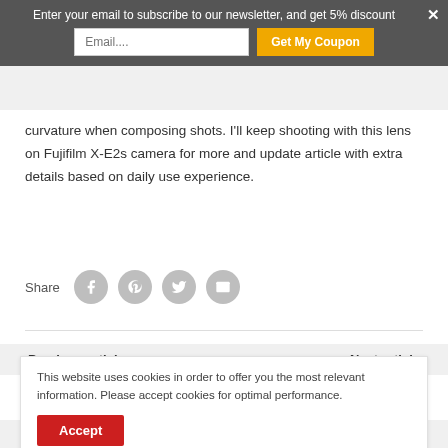Enter your email to subscribe to our newsletter, and get 5% discount
curvature when composing shots. I'll keep shooting with this lens on Fujifilm X-E2s camera for more and update article with extra details based on daily use experience.
Share
Previous article
Next article
This website uses cookies in order to offer you the most relevant information. Please accept cookies for optimal performance.
Leave a comment